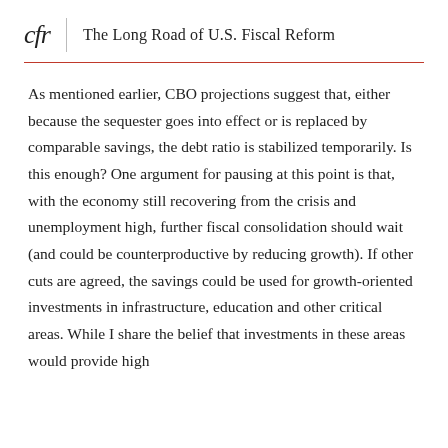cfr | The Long Road of U.S. Fiscal Reform
As mentioned earlier, CBO projections suggest that, either because the sequester goes into effect or is replaced by comparable savings, the debt ratio is stabilized temporarily. Is this enough? One argument for pausing at this point is that, with the economy still recovering from the crisis and unemployment high, further fiscal consolidation should wait (and could be counterproductive by reducing growth). If other cuts are agreed, the savings could be used for growth-oriented investments in infrastructure, education and other critical areas. While I share the belief that investments in these areas would provide high